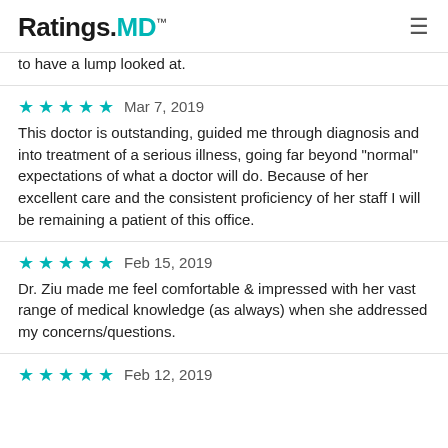Ratings.MD™
to have a lump looked at.
★★★★★  Mar 7, 2019
This doctor is outstanding, guided me through diagnosis and into treatment of a serious illness, going far beyond "normal" expectations of what a doctor will do. Because of her excellent care and the consistent proficiency of her staff I will be remaining a patient of this office.
★★★★★  Feb 15, 2019
Dr. Ziu made me feel comfortable & impressed with her vast range of medical knowledge (as always) when she addressed my concerns/questions.
★★★★★  Feb 12, 2019